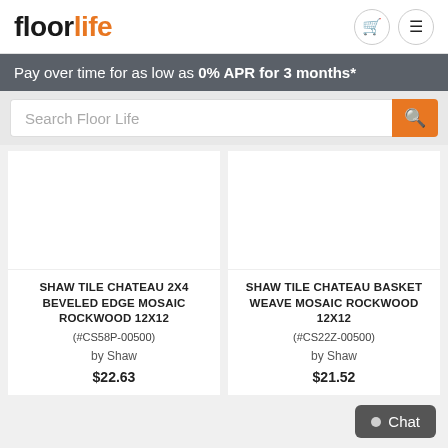floorlife
Pay over time for as low as 0% APR for 3 months*
Search Floor Life
SHAW TILE CHATEAU 2X4 BEVELED EDGE MOSAIC ROCKWOOD 12X12 (#CS58P-00500) by Shaw $22.63
SHAW TILE CHATEAU BASKET WEAVE MOSAIC ROCKWOOD 12X12 (#CS22Z-00500) by Shaw $21.52